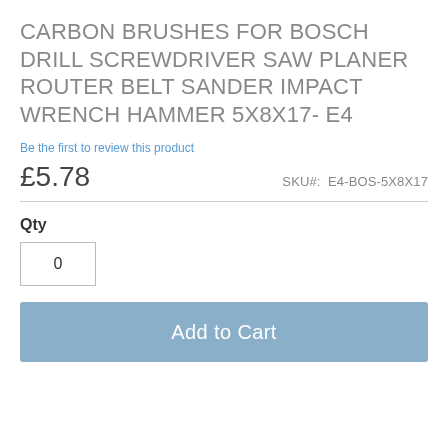CARBON BRUSHES FOR BOSCH DRILL SCREWDRIVER SAW PLANER ROUTER BELT SANDER IMPACT WRENCH HAMMER 5X8X17- E4
Be the first to review this product
£5.78
SKU#: E4-BOS-5X8X17
Qty
0
Add to Cart